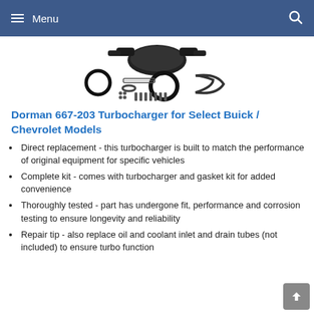Menu
[Figure (photo): Product photo of Dorman 667-203 turbocharger kit components including turbocharger, gaskets, clamps, and hardware spread out on white background]
Dorman 667-203 Turbocharger for Select Buick / Chevrolet Models
Direct replacement - this turbocharger is built to match the performance of original equipment for specific vehicles
Complete kit - comes with turbocharger and gasket kit for added convenience
Thoroughly tested - part has undergone fit, performance and corrosion testing to ensure longevity and reliability
Repair tip - also replace oil and coolant inlet and drain tubes (not included) to ensure turbo function